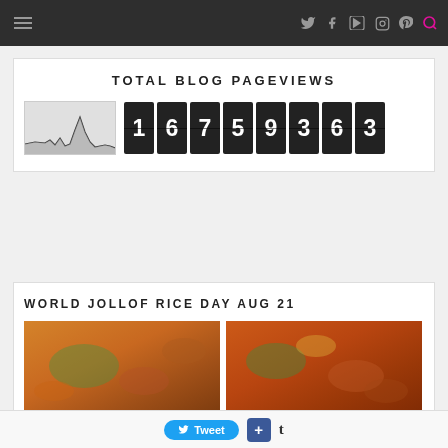Navigation bar with social icons: Twitter, Facebook, YouTube, Instagram, Pinterest, Search
TOTAL BLOG PAGEVIEWS
[Figure (other): Blog pageviews counter showing 16759363 with a small traffic histogram chart on the left]
WORLD JOLLOF RICE DAY AUG 21
[Figure (photo): Two food photos showing Jollof rice dishes with orange/tomato-based rice and garnish]
Tweet | + | t (social sharing buttons)